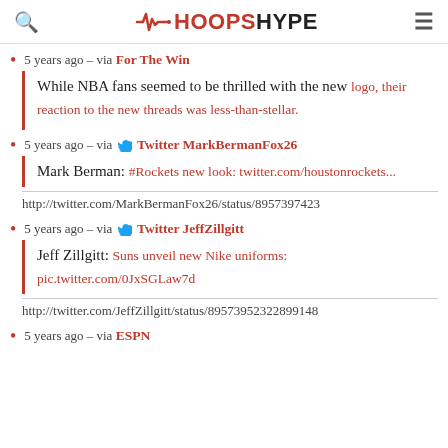HoopsHype
5 years ago – via For The Win
While NBA fans seemed to be thrilled with the new logo, their reaction to the new threads was less-than-stellar.
5 years ago – via Twitter MarkBermanFox26
Mark Berman: #Rockets new look: twitter.com/houstonrockets...
http://twitter.com/MarkBermanFox26/status/8957397423
5 years ago – via Twitter JeffZillgitt
Jeff Zillgitt: Suns unveil new Nike uniforms: pic.twitter.com/0JxSGLaw7d
http://twitter.com/JeffZillgitt/status/89573952322899148
5 years ago – via ESPN